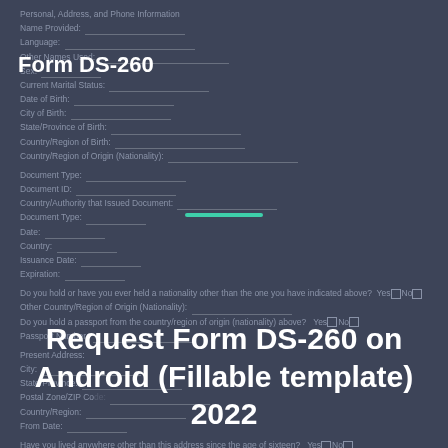Form DS-260
Personal, Address, and Phone Information
Name Provided:
Language:
Other Names Used:
Sex:
Current Marital Status:
Date of Birth:
City of Birth:
State/Province of Birth:
Country/Region of Birth:
Country/Region of Origin (Nationality):
Document Type:
Document ID:
Country/Authority that Issued Document:
Document Type:
Date:
Country:
Issuance Date:
Expiration:
Do you hold or have you ever held a nationality other than the one you have indicated above? Yes No
Other Country/Region of Origin (Nationality):
Do you hold a passport from the country/region of origin (nationality) above? Yes No
Passport Number:
Request Form DS-260 on Android (Fillable template) 2022
[Figure (other): Teal/green horizontal divider bar]
Present Address:
City:
State/Province:
Postal Zone/ZIP Code:
Country/Region:
From Date:
Have you lived anywhere other than this address since the age of sixteen? Yes No
Previous Address (1):
City:
State/Province:
Postal Zone/ZIP Code:
Country/Region:
From:
To:
Previous Address (2):
City:
Get Form